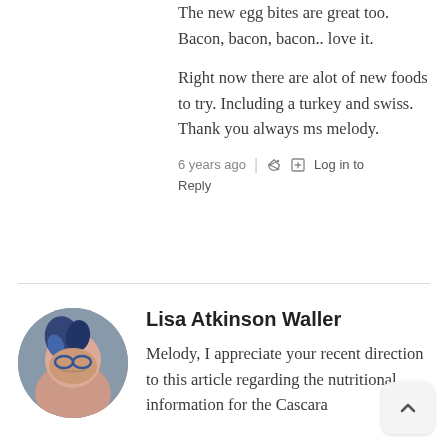The new egg bites are great too. Bacon, bacon, bacon.. love it.
Right now there are alot of new foods to try. Including a turkey and swiss. Thank you always ms melody.
6 years ago  |  Log in to Reply
Lisa Atkinson Waller
Melody, I appreciate your recent direction to this article regarding the nutritional information for the Cascara